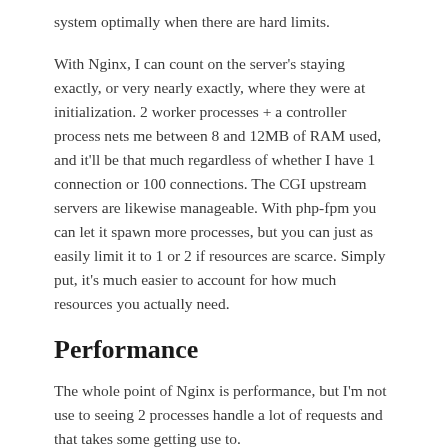system optimally when there are hard limits.
With Nginx, I can count on the server's staying exactly, or very nearly exactly, where they were at initialization. 2 worker processes + a controller process nets me between 8 and 12MB of RAM used, and it'll be that much regardless of whether I have 1 connection or 100 connections. The CGI upstream servers are likewise manageable. With php-fpm you can let it spawn more processes, but you can just as easily limit it to 1 or 2 if resources are scarce. Simply put, it's much easier to account for how much resources you actually need.
Performance
The whole point of Nginx is performance, but I'm not use to seeing 2 processes handle a lot of requests and that takes some getting use to.